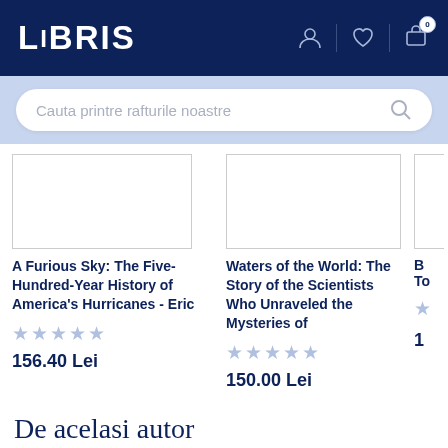LIBRIS
Cauta printre rafturile noastre
A Furious Sky: The Five-Hundred-Year History of America's Hurricanes - Eric
Waters of the World: The Story of the Scientists Who Unraveled the Mysteries of
156.40 Lei
150.00 Lei
De acelasi autor